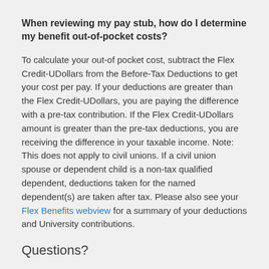When reviewing my pay stub, how do I determine my benefit out-of-pocket costs?
To calculate your out-of pocket cost, subtract the Flex Credit-UDollars from the Before-Tax Deductions to get your cost per pay. If your deductions are greater than the Flex Credit-UDollars, you are paying the difference with a pre-tax contribution. If the Flex Credit-UDollars amount is greater than the pre-tax deductions, you are receiving the difference in your taxable income. Note: This does not apply to civil unions. If a civil union spouse or dependent child is a non-tax qualified dependent, deductions taken for the named dependent(s) are taken after tax. Please also see your Flex Benefits webview for a summary of your deductions and University contributions.
Questions?
Review our posted Frequently Asked Questions here.
Email aca-help@udel.edu.